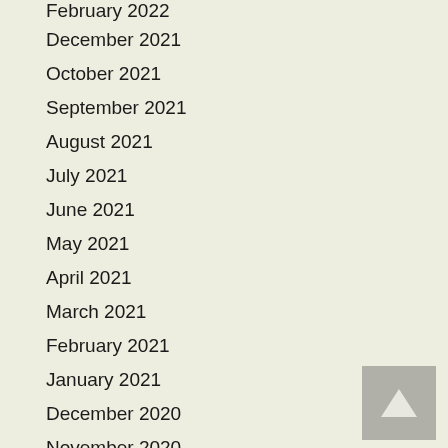February 2022
December 2021
October 2021
September 2021
August 2021
July 2021
June 2021
May 2021
April 2021
March 2021
February 2021
January 2021
December 2020
November 2020